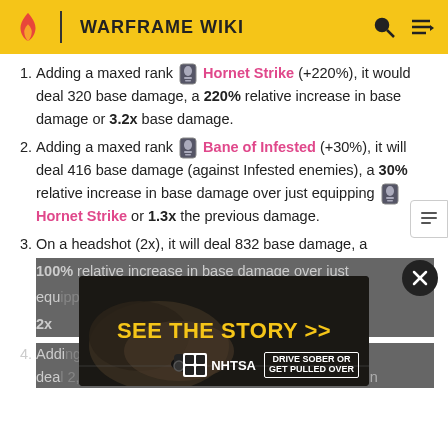WARFRAME WIKI
Adding a maxed rank [icon] Hornet Strike (+220%), it would deal 320 base damage, a 220% relative increase in base damage or 3.2x base damage.
Adding a maxed rank [icon] Bane of Infested (+30%), it will deal 416 base damage (against Infested enemies), a 30% relative increase in base damage over just equipping [icon] Hornet Strike or 1.3x the previous damage.
On a headshot (2x), it will deal 832 base damage, a 100% relative increase in base damage over just equipping [icon] Bane of Infested or 2x...
Adding a... will deal 2,495 base damage, a 200% relative increase in
[Figure (other): NHTSA advertisement overlay: dark background with car action scene, yellow text reading SEE THE STORY >>, NHTSA logo and DRIVE SOBER OR GET PULLED OVER badge]